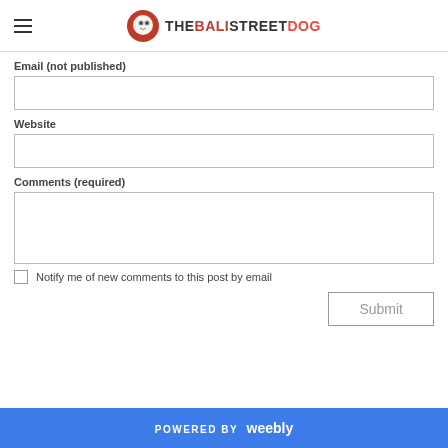THE BALI STREET DOG
Email (not published)
Website
Comments (required)
Notify me of new comments to this post by email
Submit
POWERED BY weebly